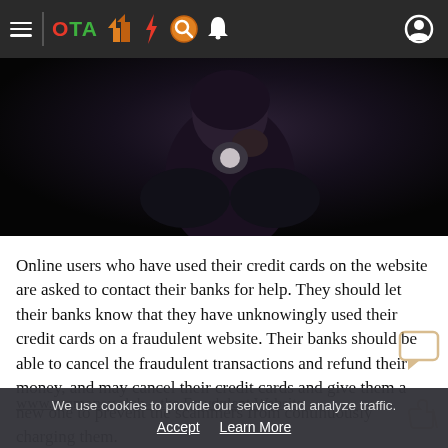≡ OTA [icons]
[Figure (photo): Dark dramatic photo of a person in dark clothing, partially obscured, holding something near their face against a black background.]
Online users who have used their credit cards on the website are asked to contact their banks for help. They should let their banks know that they have unknowingly used their credit cards on a fraudulent website. Their banks should be able to cancel the fraudulent transactions and refund their money, and may cancel their credit cards and give them a new one to prevent the scammers from continuously charging them.
www.rugmoney.club – the Fraudulent Website
We use cookies to provide our service and analyze traffic.
Accept   Learn More